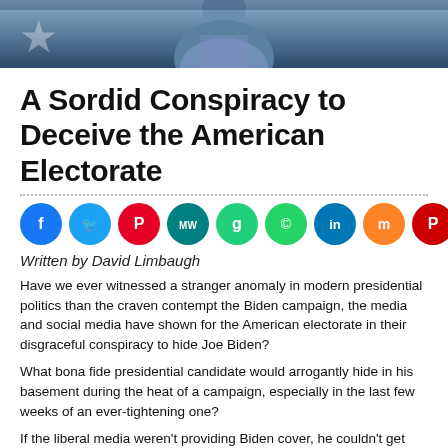[Figure (photo): Top banner photo of a person (partially visible from chest up) against a dark blue/flag background with a star visible on the left side.]
A Sordid Conspiracy to Deceive the American Electorate
[Figure (infographic): A row of 10 social media sharing icon circles: Facebook (dark blue), Twitter (light blue), Pinterest (red), MeWe (teal), Google (red), WhatsApp (green), LinkedIn (blue), Mix (orange), Parler (red-orange), Share (orange-red).]
Written by David Limbaugh
Have we ever witnessed a stranger anomaly in modern presidential politics than the craven contempt the Biden campaign, the media and social media have shown for the American electorate in their disgraceful conspiracy to hide Joe Biden?
What bona fide presidential candidate would arrogantly hide in his basement during the heat of a campaign, especially in the last few weeks of an ever-tightening one?
If the liberal media weren’t providing Biden cover, he couldn’t get away with this. If they were even raising questions about his intentional invisibility, this campaign would look far different, and far less surreal.